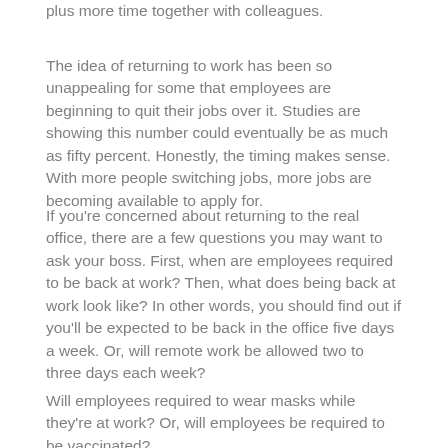plus more time together with colleagues.
The idea of returning to work has been so unappealing for some that employees are beginning to quit their jobs over it. Studies are showing this number could eventually be as much as fifty percent. Honestly, the timing makes sense. With more people switching jobs, more jobs are becoming available to apply for.
If you're concerned about returning to the real office, there are a few questions you may want to ask your boss. First, when are employees required to be back at work? Then, what does being back at work look like? In other words, you should find out if you'll be expected to be back in the office five days a week. Or, will remote work be allowed two to three days each week?
Will employees required to wear masks while they're at work? Or, will employees be required to be vaccinated?